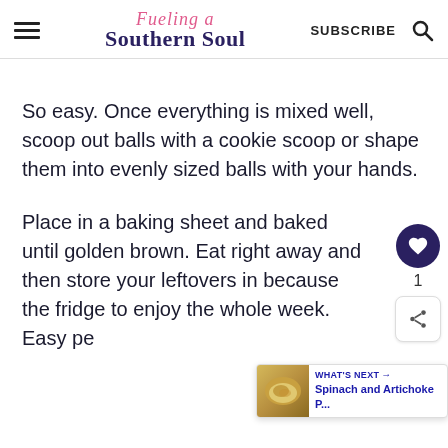Fueling a Southern Soul — SUBSCRIBE
So easy. Once everything is mixed well, scoop out balls with a cookie scoop or shape them into evenly sized balls with your hands.
Place in a baking sheet and baked until golden brown. Eat right away and then store your leftovers in because the fridge to enjoy the whole week. Easy pe...
[Figure (screenshot): What's Next sidebar panel showing Spinach and Artichoke P... thumbnail with heart and share buttons]